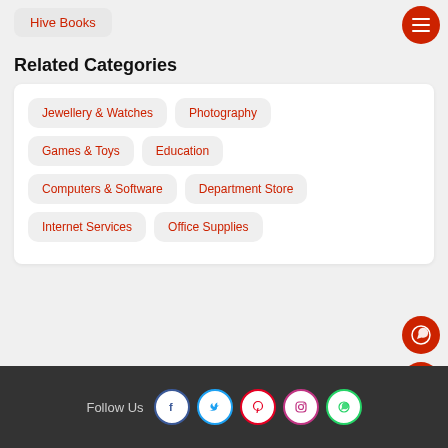Hive Books
Related Categories
Jewellery & Watches
Photography
Games & Toys
Education
Computers & Software
Department Store
Internet Services
Office Supplies
Follow Us